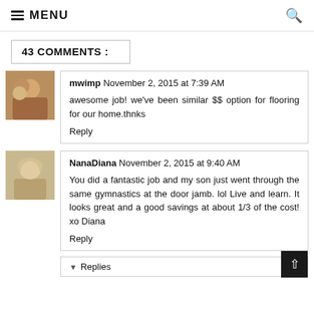☰ MENU
43 COMMENTS :
mwimp  November 2, 2015 at 7:39 AM
awesome job! we've been similar $$ option for flooring for our home.thnks
Reply
NanaDiana  November 2, 2015 at 9:40 AM
You did a fantastic job and my son just went through the same gymnastics at the door jamb. lol Live and learn. It looks great and a good savings at about 1/3 of the cost! xo Diana
Reply
▼  Replies